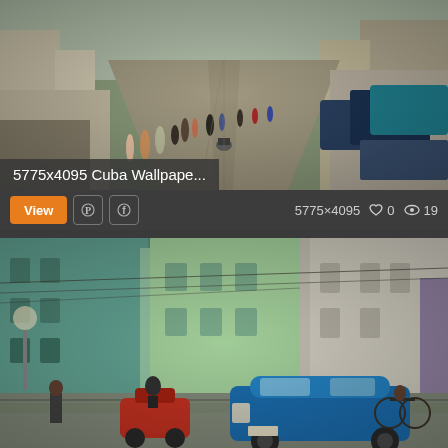[Figure (photo): Street scene in Cuba, crowded city street with pedestrians and vehicles, vintage cars, colorful colonial buildings, perspective view down a long street]
5775x4095 Cuba Wallpape...
5775×4095  ♡ 0  👁 19
[Figure (photo): Havana Cuba street scene with a blue vintage classic American car in center, red moped/tuk-tuk on left, colorful colonial buildings in teal and white, pedestrians and cyclists]